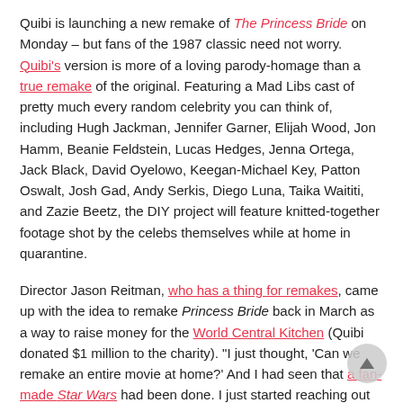Quibi is launching a new remake of The Princess Bride on Monday – but fans of the 1987 classic need not worry. Quibi's version is more of a loving parody-homage than a true remake of the original. Featuring a Mad Libs cast of pretty much every random celebrity you can think of, including Hugh Jackman, Jennifer Garner, Elijah Wood, Jon Hamm, Beanie Feldstein, Lucas Hedges, Jenna Ortega, Jack Black, David Oyelowo, Keegan-Michael Key, Patton Oswalt, Josh Gad, Andy Serkis, Diego Luna, Taika Waititi, and Zazie Beetz, the DIY project will feature knitted-together footage shot by the celebs themselves while at home in quarantine.
Director Jason Reitman, who has a thing for remakes, came up with the idea to remake Princess Bride back in March as a way to raise money for the World Central Kitchen (Quibi donated $1 million to the charity). "I just thought, 'Can we remake an entire movie at home?' And I had seen that a fan-made Star Wars had been done. I just started reaching out to actors I knew, saying, 'Is this something you'd want to do?' And the response was kind of